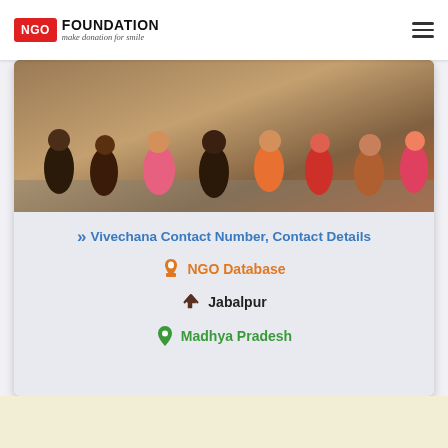NGO FOUNDATION — make donation for smile
[Figure (photo): Group of children photographed from above/behind, standing together outdoors]
Vivechana Contact Number, Contact Details
NGO Database
Jabalpur
Madhya Pradesh